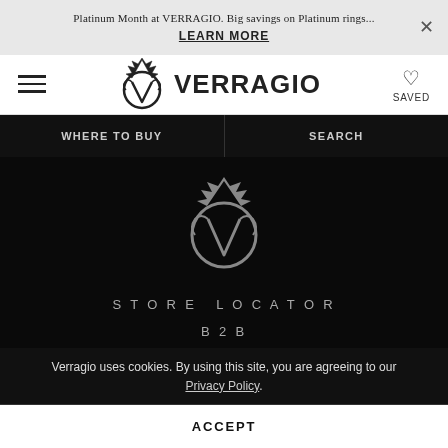Platinum Month at VERRAGIO. Big savings on Platinum rings... LEARN MORE
[Figure (logo): Verragio brand logo with crown and V emblem, with text VERRAGIO]
WHERE TO BUY | SEARCH
[Figure (logo): Verragio V emblem crown logo in white on black background]
STORE LOCATOR
B2B
CONCIERGE
WARRANTY
Verragio uses cookies. By using this site, you are agreeing to our Privacy Policy.
ACCEPT